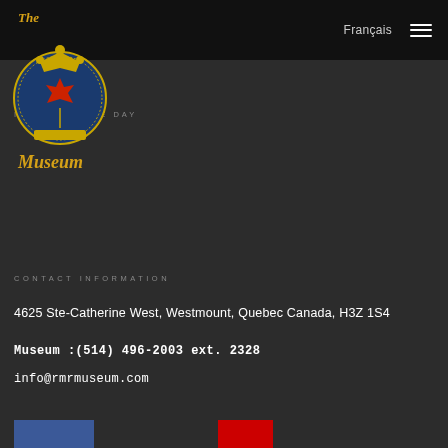Français ☰
[Figure (logo): The Royal Montreal Regiment Museum logo — circular military crest with crown, maple leaf, and 'Museum' script in gold on dark background]
INST... OF THE DAY
CONTACT INFORMATION
4625 Ste-Catherine West, Westmount, Quebec Canada, H3Z 1S4
Museum :(514) 496-2003 ext. 2328
info@rmrmuseum.com